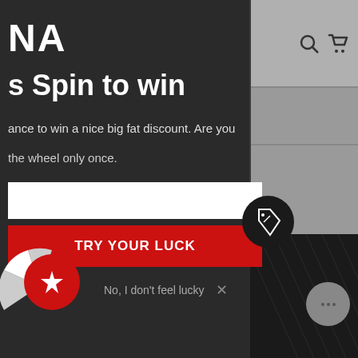NA
s Spin to win
ance to win a nice big fat discount. Are you
the wheel only once.
TRY YOUR LUCK
No, I don't feel lucky
[Figure (screenshot): Spin to win popup modal on a retail website, showing brand name partial 'NA', heading 's Spin to win', promotional text about winning a discount, email input field, red TRY YOUR LUCK button, dismiss link 'No, I don't feel lucky', star/spinner wheel graphic at bottom left, discount tag icon on right side, chat bubble on bottom right, and search/cart icons top right.]